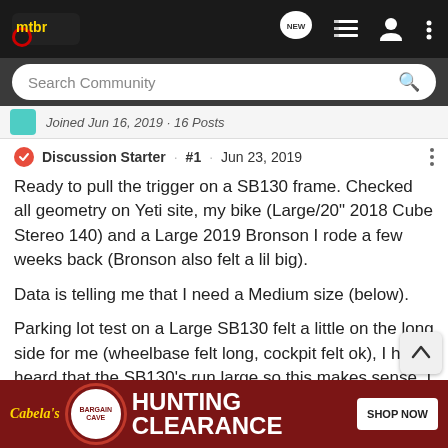mtbr — navigation header with NEW, list, user, more icons
Search Community
Joined Jun 16, 2019 · 16 Posts
Discussion Starter · #1 · Jun 23, 2019
Ready to pull the trigger on a SB130 frame. Checked all geometry on Yeti site, my bike (Large/20" 2018 Cube Stereo 140) and a Large 2019 Bronson I rode a few weeks back (Bronson also felt a lil big).
Data is telling me that I need a Medium size (below).
Parking lot test on a Large SB130 felt a little on the long side for me (wheelbase felt long, cockpit felt ok), I have heard that the SB130's run large so this makes sense. I want a nice playful feel on t... e cockpit ... mm
[Figure (other): Cabela's Bargain Cave Hunting Clearance advertisement banner with Shop Now button]